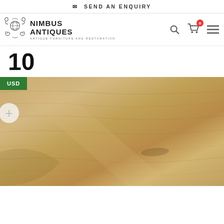SEND AN ENQUIRY
[Figure (logo): Nimbus Antiques logo with ornate scroll graphic and text: NIMBUS ANTIQUES, ANTIQUE FURNITURE AND RESTORATION]
10
[Figure (photo): Close-up photo of antique wood surface showing wood grain texture in golden/tan tones with USD badge and zoom/plus button overlay]